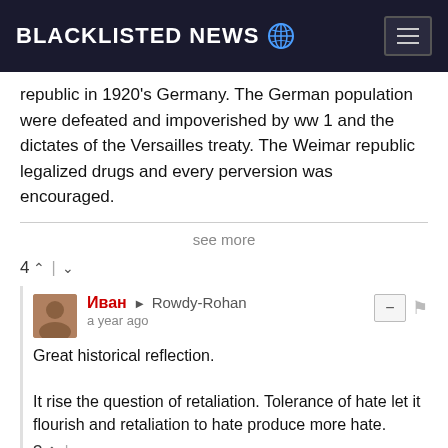BLACKLISTED NEWS
republic in 1920's Germany. The German population were defeated and impoverished by ww 1 and the dictates of the Versailles treaty. The Weimar republic legalized drugs and every perversion was encouraged.
see more
4
Иван → Rowdy-Rohan
a year ago
Great historical reflection.

It rise the question of retaliation. Tolerance of hate let it flourish and retaliation to hate produce more hate.
3
Rowdy-Rohan → Иван
a year ago
Thanks the similarity between Germany after world war One and during the Weimar republic and America after